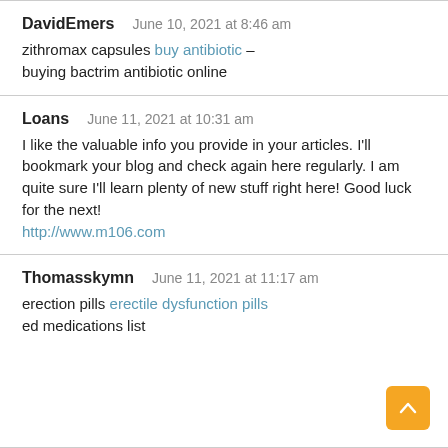DavidEmers — June 10, 2021 at 8:46 am
zithromax capsules buy antibiotic – buying bactrim antibiotic online
Loans — June 11, 2021 at 10:31 am
I like the valuable info you provide in your articles. I'll bookmark your blog and check again here regularly. I am quite sure I'll learn plenty of new stuff right here! Good luck for the next! http://www.m106.com
Thomasskymn — June 11, 2021 at 11:17 am
erection pills erectile dysfunction pills ed medications list